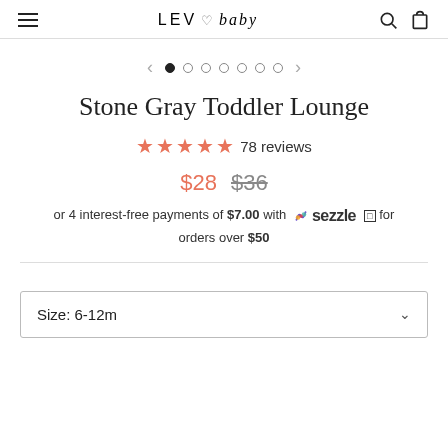LEV baby
[Figure (other): Image carousel dots navigation with left and right arrows, showing 7 dots where the first is filled/active]
Stone Gray Toddler Lounge
★★★★★ 78 reviews
$28  $36
or 4 interest-free payments of $7.00 with Sezzle ⓘ for orders over $50
Size: 6-12m